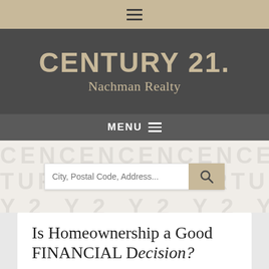[Figure (logo): Top tan navigation bar with hamburger menu icon]
[Figure (logo): Century 21 Nachman Realty brand header on dark gray background]
MENU
[Figure (screenshot): Search bar with placeholder text 'City, Postal Code, Address...' and tan search button with magnifying glass icon, overlaid on Century 21 watermark text pattern]
Is Homeownership a Good FINANCIAL Decision?